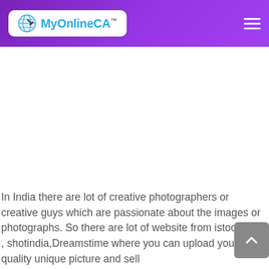[Figure (logo): MyOnlineCA logo with blue globe/pen icon and text 'MyOnlineCA™' on white rounded rectangle, on purple gradient header bar with hamburger menu icon on right]
In India there are lot of creative photographers or creative guys which are passionate about the images or photographs. So there are lot of website from istockphoto , shotindia,Dreamstime where you can upload your high quality unique picture and sell